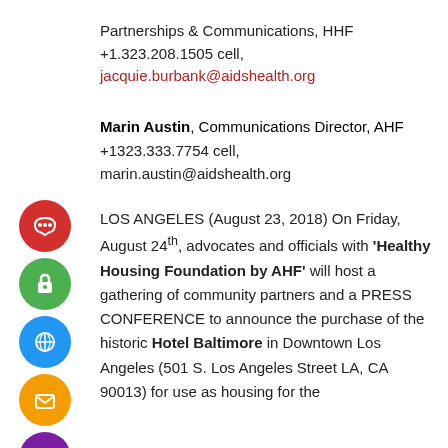Partnerships & Communications, HHF
+1.323.208.1505 cell,
jacquie.burbank@aidshealth.org
Marin Austin, Communications Director, AHF +1323.333.7754 cell, marin.austin@aidshealth.org
LOS ANGELES (August 23, 2018) On Friday, August 24th, advocates and officials with 'Healthy Housing Foundation by AHF' will host a gathering of community partners and a PRESS CONFERENCE to announce the purchase of the historic Hotel Baltimore in Downtown Los Angeles (501 S. Los Angeles Street LA, CA 90013) for use as housing for the